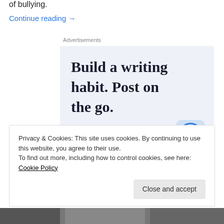of bullying.
Continue reading →
Advertisements
[Figure (illustration): WordPress app advertisement with text 'Build a writing habit. Post on the go.' and 'GET THE APP' call to action with WordPress logo]
Privacy & Cookies: This site uses cookies. By continuing to use this website, you agree to their use.
To find out more, including how to control cookies, see here: Cookie Policy
Close and accept
[Figure (photo): Photo strip at bottom of page showing partial faces]